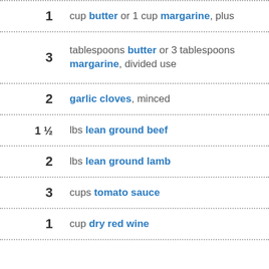1 cup butter or 1 cup margarine, plus
3 tablespoons butter or 3 tablespoons margarine, divided use
2 garlic cloves, minced
1½ lbs lean ground beef
2 lbs lean ground lamb
3 cups tomato sauce
1 cup dry red wine